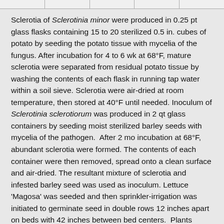Sclerotia of Sclerotinia minor were produced in 0.25 pt glass flasks containing 15 to 20 sterilized 0.5 in. cubes of potato by seeding the potato tissue with mycelia of the fungus. After incubation for 4 to 6 wk at 68°F, mature sclerotia were separated from residual potato tissue by washing the contents of each flask in running tap water within a soil sieve. Sclerotia were air-dried at room temperature, then stored at 40°F until needed. Inoculum of Sclerotinia sclerotiorum was produced in 2 qt glass containers by seeding moist sterilized barley seeds with mycelia of the pathogen. After 2 mo incubation at 68°F, abundant sclerotia were formed. The contents of each container were then removed, spread onto a clean surface and air-dried. The resultant mixture of sclerotia and infested barley seed was used as inoculum. Lettuce 'Magosa' was seeded and then sprinkler-irrigation was initiated to germinate seed in double rows 12 inches apart on beds with 42 inches between bed centers. Plants